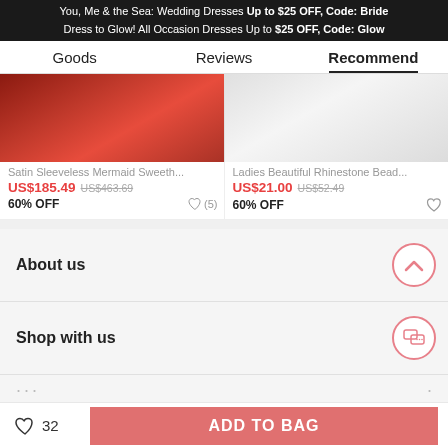You, Me & the Sea: Wedding Dresses Up to $25 OFF, Code: Bride
Dress to Glow! All Occasion Dresses Up to $25 OFF, Code: Glow
Goods | Reviews | Recommend
[Figure (photo): Two product images side by side: left shows red satin fabric, right shows white fabric]
Satin Sleeveless Mermaid Sweeth...
US$185.49  US$463.69
60% OFF
Ladies Beautiful Rhinestone Bead...
US$21.00  US$52.49
60% OFF
About us
Shop with us
Get $5 off for your first order!
CLAIM NOW
32
ADD TO BAG